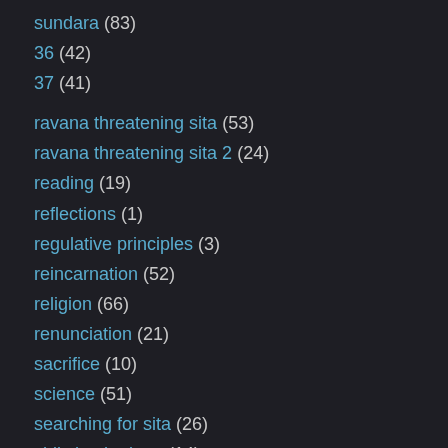sundara (83)
36 (42)
37 (41)
ravana threatening sita (53)
ravana threatening sita 2 (24)
reading (19)
reflections (1)
regulative principles (3)
reincarnation (52)
religion (66)
renunciation (21)
sacrifice (10)
science (51)
searching for sita (26)
shikshashtakam (14)
shiva (2)
sita and hanuman (29)
sita describing her marriage (12)